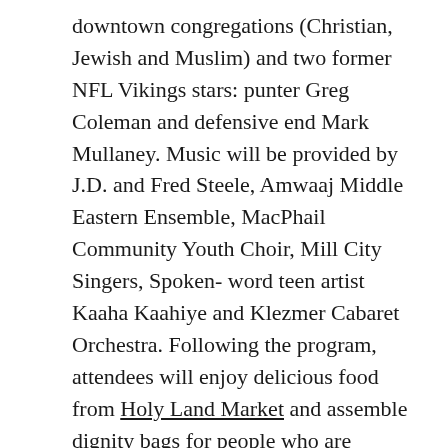downtown congregations (Christian, Jewish and Muslim) and two former NFL Vikings stars: punter Greg Coleman and defensive end Mark Mullaney. Music will be provided by J.D. and Fred Steele, Amwaaj Middle Eastern Ensemble, MacPhail Community Youth Choir, Mill City Singers, Spoken- word teen artist Kaaha Kaahiye and Klezmer Cabaret Orchestra. Following the program, attendees will enjoy delicious food from Holy Land Market and assemble dignity bags for people who are homeless (consisting of hygiene products, socks, hand warmers, food, etc.).
February 25 (4:00 p.m.) Annual Youth Coffeehouse Cabaret will be presented by the church's youth to showcase their talents through individual and group performances and a skit comedy.
March 2 (7:30 p.m.). Cantus, a male chamber a cappella ensemble that has an office and practice space at